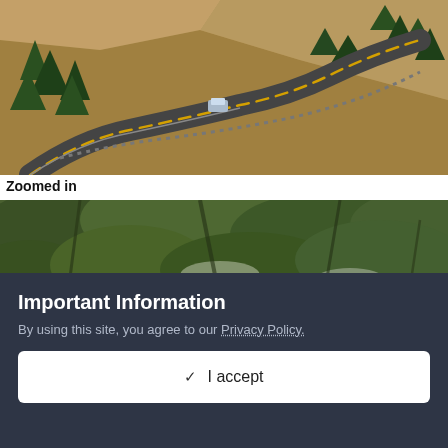[Figure (photo): Aerial view of a winding two-lane road with yellow center line through an arid, hilly landscape with sparse pine trees. A vehicle is visible on the road which has a wooden guardrail.]
Zoomed in
[Figure (photo): Close-up aerial view of dense pine/conifer tree canopy from above, with rocky terrain and fallen trees visible through the branches.]
Important Information
By using this site, you agree to our Privacy Policy.
✓  I accept